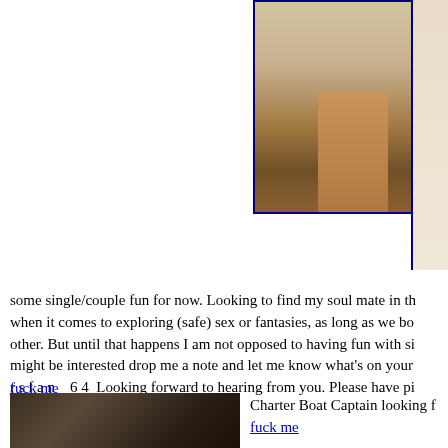[Figure (photo): Partial photo of a person's legs, cropped at top]
[Figure (photo): Partial photo on right edge, cropped]
some single/couple fun for now. Looking to find my soul mate in the when it comes to exploring (safe) sex or fantasies, as long as we bot other. But until that happens I am not opposed to having fun with si might be interested drop me a note and let me know what's on your r s f a n _ 6 4 Looking forward to hearing from you. Please have pic
fuck me
[Figure (photo): Dark photo thumbnail at bottom left]
Charter Boat Captain looking f fuck me